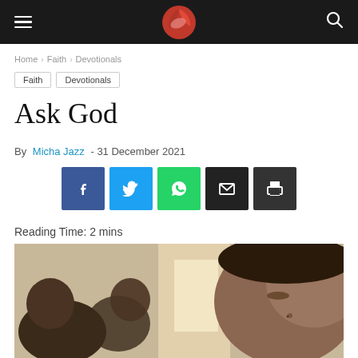Navigation header with hamburger menu, logo, and search icon
Home > Faith > Devotionals
Faith
Devotionals
Ask God
By Micha Jazz - 31 December 2021
[Figure (infographic): Social share buttons: Facebook, Twitter, WhatsApp, Email, Print]
Reading Time: 2 mins
[Figure (photo): Photo of people with eyes closed, appearing to be praying or worshipping]